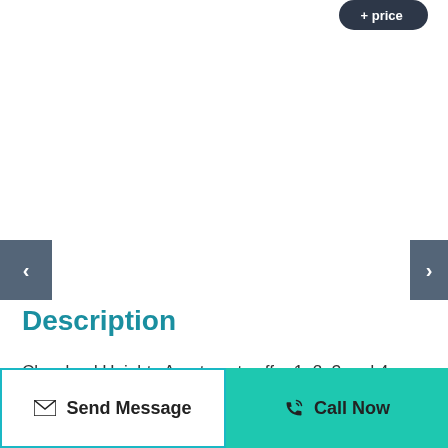[Figure (screenshot): Partially visible dark pill-shaped button at top right, likely a price or action button with white text]
[Figure (screenshot): Left navigation arrow button (grey background, white chevron left)]
[Figure (screenshot): Right navigation arrow button (grey background, white chevron right)]
Description
Cleveland Heights Apartments offer 1, 2, 3 and 4 bedroom
[Figure (screenshot): Send Message button with envelope icon, white background with teal border]
[Figure (screenshot): Call Now button with phone icon, teal/green background]